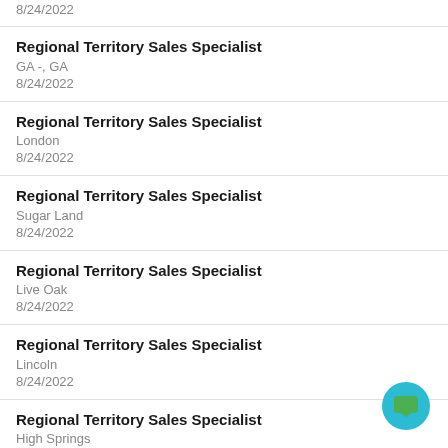8/24/2022
Regional Territory Sales Specialist
GA -, GA
8/24/2022
Regional Territory Sales Specialist
London
8/24/2022
Regional Territory Sales Specialist
Sugar Land
8/24/2022
Regional Territory Sales Specialist
Live Oak
8/24/2022
Regional Territory Sales Specialist
Lincoln
8/24/2022
Regional Territory Sales Specialist
High Springs
8/24/2022